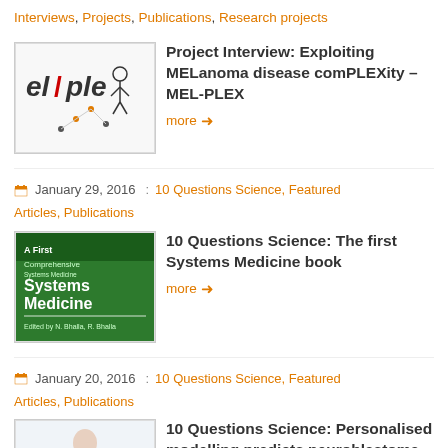Interviews, Projects, Publications, Research projects
Project Interview: Exploiting MELanoma disease comPLEXity – MEL-PLEX
more →
January 29, 2016 : 10 Questions Science, Featured Articles, Publications
10 Questions Science: The first Systems Medicine book
more →
January 20, 2016 : 10 Questions Science, Featured Articles, Publications
10 Questions Science: Personalised modelling predicts neuroblastoma survival
more →
January 18, 2016 : Featured Articles, Project Interviews,
Projects, Publications, Research projects